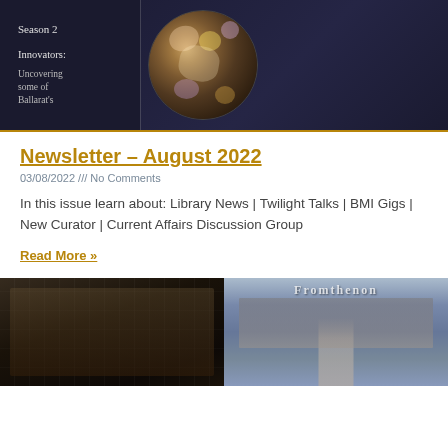[Figure (photo): Dark navy background book or poster image with 'Season 2' and 'Innovators: Uncovering some of Ballarat's' text on left, floral circular artwork on right]
Newsletter – August 2022
03/08/2022 /// No Comments
In this issue learn about: Library News | Twilight Talks | BMI Gigs | New Curator | Current Affairs Discussion Group
Read More »
[Figure (photo): Split image: left side black and white market/bazaar scene, right side color photo of French village street with stone buildings and road leading through town]